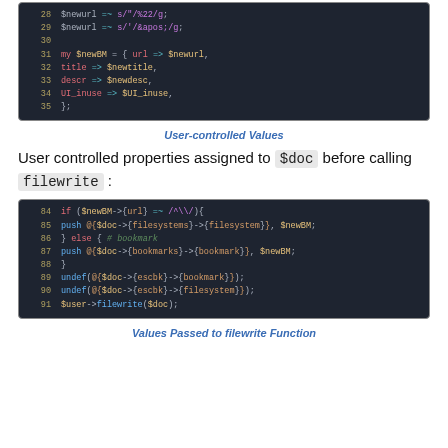[Figure (screenshot): Code snippet lines 28-35 showing Perl code with $newurl substitutions and $newBM hash assignment]
User-controlled Values
User controlled properties assigned to $doc before calling filewrite :
[Figure (screenshot): Code snippet lines 84-91 showing Perl code pushing to $doc filesystems or bookmarks and calling filewrite]
Values Passed to filewrite Function